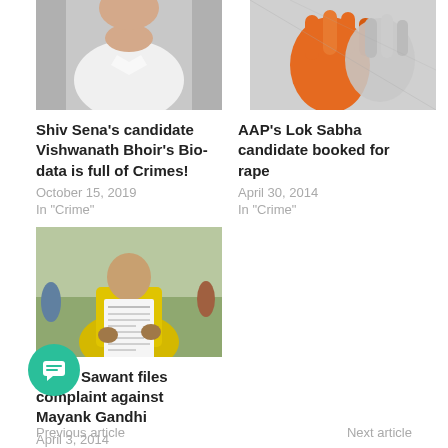[Figure (photo): Photo of a person in white shirt, partially cropped (top portion)]
[Figure (illustration): Illustration of hands with orange/red coloring suggesting crime or violence]
Shiv Sena's candidate Vishwanath Bhoir's Bio-data is full of Crimes!
October 15, 2019
In "Crime"
AAP's Lok Sabha candidate booked for rape
April 30, 2014
In "Crime"
[Figure (photo): Photo of a person in yellow clothing holding a document/form outdoors]
Rakhi Sawant files complaint against Mayank Gandhi
April 3, 2014
In "Political"
Previous article                                    Next article